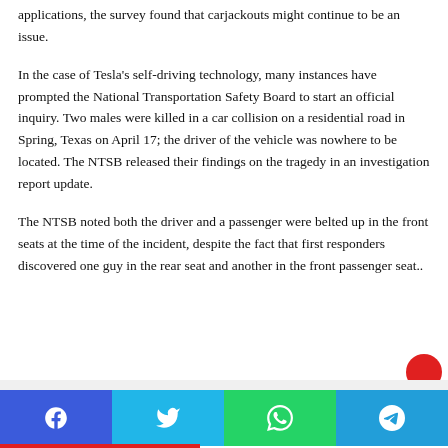applications, the survey found that carjackouts might continue to be an issue.
In the case of Tesla's self-driving technology, many instances have prompted the National Transportation Safety Board to start an official inquiry. Two males were killed in a car collision on a residential road in Spring, Texas on April 17; the driver of the vehicle was nowhere to be located. The NTSB released their findings on the tragedy in an investigation report update.
The NTSB noted both the driver and a passenger were belted up in the front seats at the time of the incident, despite the fact that first responders discovered one guy in the rear seat and another in the front passenger seat..